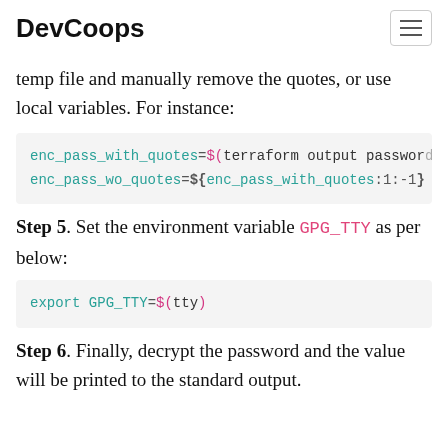DevCoops
temp file and manually remove the quotes, or use local variables. For instance:
enc_pass_with_quotes=$(terraform output password)
enc_pass_wo_quotes=${enc_pass_with_quotes:1:-1}
Step 5. Set the environment variable GPG_TTY as per below:
export GPG_TTY=$(tty)
Step 6. Finally, decrypt the password and the value will be printed to the standard output.